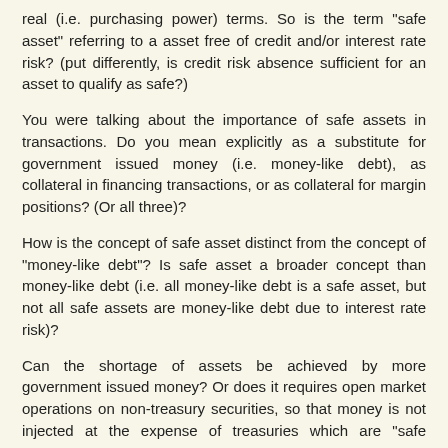real (i.e. purchasing power) terms. So is the term "safe asset" referring to a asset free of credit and/or interest rate risk? (put differently, is credit risk absence sufficient for an asset to qualify as safe?)
You were talking about the importance of safe assets in transactions. Do you mean explicitly as a substitute for government issued money (i.e. money-like debt), as collateral in financing transactions, or as collateral for margin positions? (Or all three)?
How is the concept of safe asset distinct from the concept of "money-like debt"? Is safe asset a broader concept than money-like debt (i.e. all money-like debt is a safe asset, but not all safe assets are money-like debt due to interest rate risk)?
Can the shortage of assets be achieved by more government issued money? Or does it requires open market operations on non-treasury securities, so that money is not injected at the expense of treasuries which are "safe assets"?